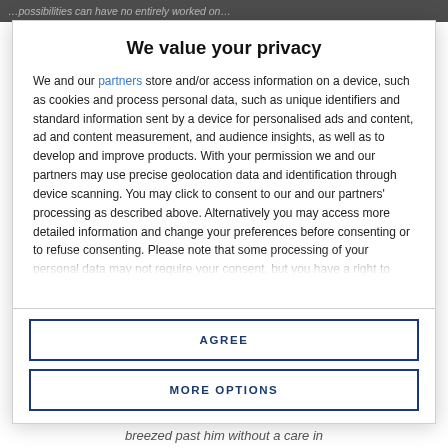...possibilities can have no entirely worked on...
We value your privacy
We and our partners store and/or access information on a device, such as cookies and process personal data, such as unique identifiers and standard information sent by a device for personalised ads and content, ad and content measurement, and audience insights, as well as to develop and improve products. With your permission we and our partners may use precise geolocation data and identification through device scanning. You may click to consent to our and our partners' processing as described above. Alternatively you may access more detailed information and change your preferences before consenting or to refuse consenting. Please note that some processing of your personal data may not require your consent, but you have a right to
AGREE
MORE OPTIONS
breezed past him without a care in